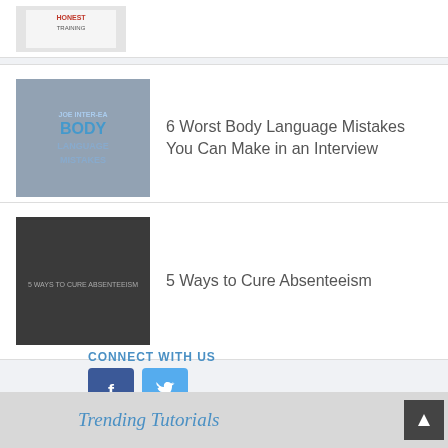[Figure (illustration): Partial book cover at top, partially cropped]
6 Worst Body Language Mistakes You Can Make in an Interview
[Figure (illustration): Dark thumbnail image for body language article]
5 Ways to Cure Absenteeism
[Figure (illustration): Dark city aerial thumbnail for absenteeism article]
CONNECT WITH US
[Figure (infographic): Facebook and Twitter social media buttons]
Trending Tutorials